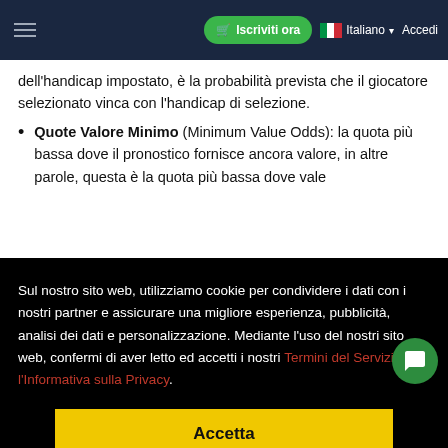Iscriviti ora | Italiano | Accedi
dell'handicap impostato, è la probabilità prevista che il giocatore selezionato vinca con l'handicap di selezione.
Quote Valore Minimo (Minimum Value Odds): la quota più bassa dove il pronostico fornisce ancora valore, in altre parole, questa è la quota più bassa dove vale
Sul nostro sito web, utilizziamo cookie per condividere i dati con i nostri partner e assicurare una migliore esperienza, pubblicità, analisi dei dati e personalizzazione. Mediante l'uso del nostri sito web, confermi di aver letto ed accetti i nostri Termini del Servizio e l'Informativa sulla Privacy.
Accetta
ITF Men, ITF Women 25K+ & ITF Women 15K)